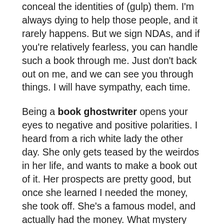conceal the identities of (gulp) them. I'm always dying to help those people, and it rarely happens. But we sign NDAs, and if you're relatively fearless, you can handle such a book through me. Just don't back out on me, and we can see you through things. I will have sympathy, each time.
Being a book ghostwriter opens your eyes to negative and positive polarities. I heard from a rich white lady the other day. She only gets teased by the weirdos in her life, and wants to make a book out of it. Her prospects are pretty good, but once she learned I needed the money, she took off. She's a famous model, and actually had the money. What mystery event happened to such a rich white lady, I do not know. Meanwhile, another white lady, with two